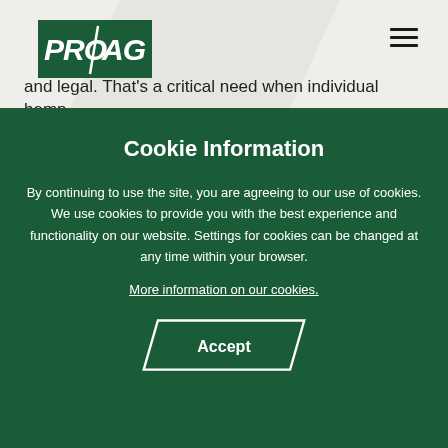[Figure (logo): PRO AG logo in green and white on a light gray background with diagonal shape]
and legal. That's a critical need when individual hemp
Cookie Information
By continuing to use the site, you are agreeing to our use of cookies. We use cookies to provide you with the best experience and functionality on our website. Settings for cookies can be changed at any time within your browser.
More information on our cookies.
Accept